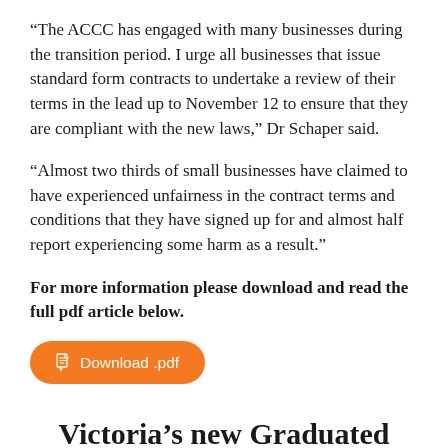“The ACCC has engaged with many businesses during the transition period. I urge all businesses that issue standard form contracts to undertake a review of their terms in the lead up to November 12 to ensure that they are compliant with the new laws,” Dr Schaper said.
“Almost two thirds of small businesses have claimed to have experienced unfairness in the contract terms and conditions that they have signed up for and almost half report experiencing some harm as a result.”
For more information please download and read the full pdf article below.
[Figure (other): Orange rounded button labeled 'Download .pdf' with a PDF file icon]
Victoria’s new Graduated